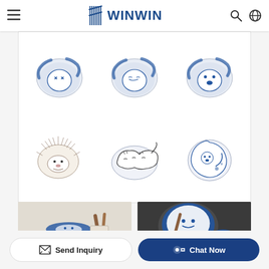WINWIN
[Figure (photo): Product showcase of blue and white cat-themed ceramic bowls in two rows: top row shows three round bowls viewed from above with cat designs in blue, bottom row shows three cat-shaped plates/bowls including a hedgehog face, two sleeping cat shaped dishes, and a round cat dish]
[Figure (photo): Photo of stacked blue and white cat-themed ceramic bowls with wooden utensils in a kitchen or lifestyle setting]
[Figure (photo): Photo of blue and white cat-themed ceramic bowls and small dishes with a hand holding one, dark background]
Send Inquiry
Chat Now